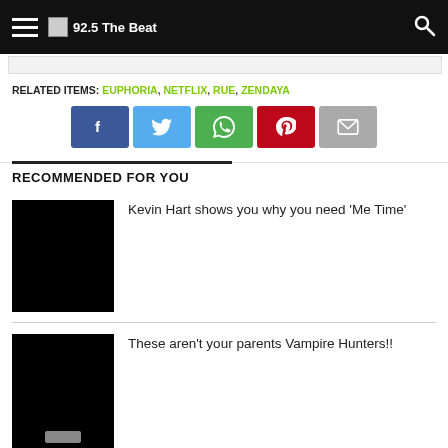92.5 The Beat
RELATED ITEMS: EUPHORIA, NETFLIX, RUE, ZENDAYA
[Figure (infographic): Social sharing buttons: Facebook (blue), Twitter (light blue), WhatsApp (green), Pinterest (red), Email (gray)]
RECOMMENDED FOR YOU
Kevin Hart shows you why you need 'Me Time'
These aren't your parents Vampire Hunters!!